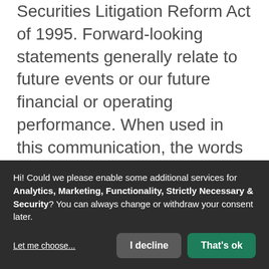Securities Litigation Reform Act of 1995. Forward-looking statements generally relate to future events or our future financial or operating performance. When used in this communication, the words "estimates," "projected," "expects," "anticipates," "forecasts," "plans," "intends," "believes," "seeks," "may," "will," "should," "future," "propose" and variations of these words or similar expressions (or the negative versions of such words or expressions) are intended to identify forward-looking statements. These forward-looking statements
Hi! Could we please enable some additional services for Analytics, Marketing, Functionality, Strictly Necessary & Security? You can always change or withdraw your consent later.
Let me choose...
I decline
That's ok